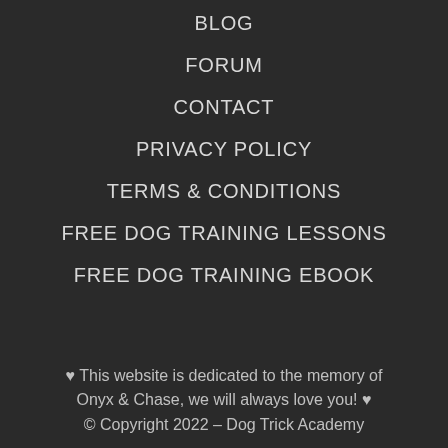BLOG
FORUM
CONTACT
PRIVACY POLICY
TERMS & CONDITIONS
FREE DOG TRAINING LESSONS
FREE DOG TRAINING EBOOK
♥ This website is dedicated to the memory of Onyx & Chase, we will always love you! ♥
© Copyright 2022 – Dog Trick Academy